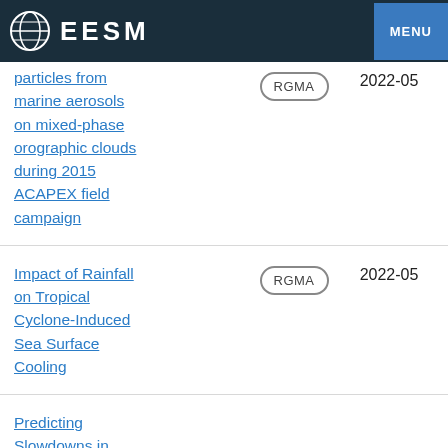EESM  MENU
particles from marine aerosols on mixed-phase orographic clouds during 2015 ACAPEX field campaign
Impact of Rainfall on Tropical Cyclone-Induced Sea Surface Cooling
Predicting Slowdowns in